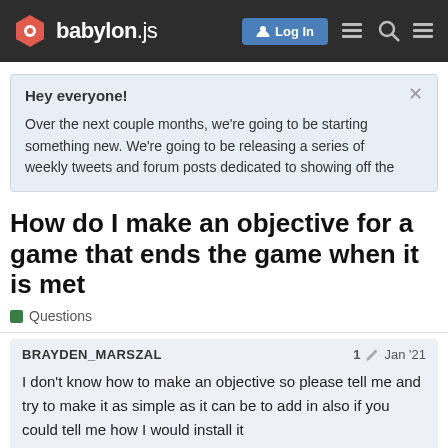babylon.js — Log In
Hey everyone!

Over the next couple months, we're going to be starting something new. We're going to be releasing a series of weekly tweets and forum posts dedicated to showing off the
How do I make an objective for a game that ends the game when it is met
Questions
BRAYDEN_MARSZAL   1  Jan '21
I don't know how to make an objective so please tell me and try to make it as simple as it can be to add in also if you could tell me how I would install it